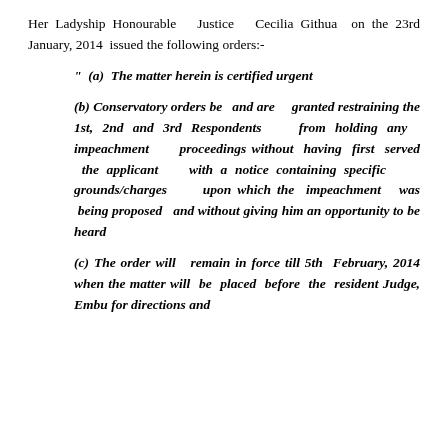Her Ladyship Honourable Justice Cecilia Githua on the 23rd January, 2014 issued the following orders:-
" (a) The matter herein is certified urgent
(b) Conservatory orders be and are granted restraining the 1st, 2nd and 3rd Respondents from holding any impeachment proceedings without having first served the applicant with a notice containing specific grounds/charges upon which the impeachment was being proposed and without giving him an opportunity to be heard
(c) The order will remain in force till 5th February, 2014 when the matter will be placed before the resident Judge, Embu for directions and